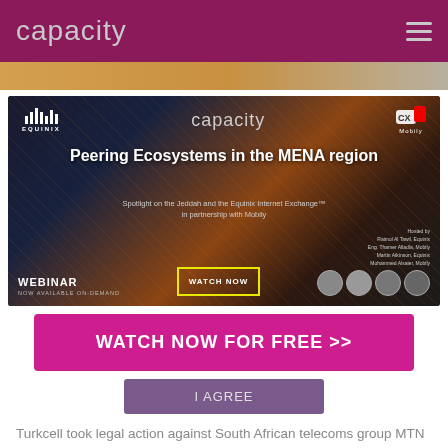capacity
[Figure (screenshot): Webinar advertisement banner for 'Peering Ecosystems in the MENA region' featuring Equinix, Capacity, and Mobily logos, with title text, subtitle, WATCH NOW button, speaker photos, and WEBINAR NOW AVAILABLE ON-DEMAND text.]
WATCH NOW FOR FREE >>
I AGREE
Turkcell took legal action against South African telecoms group MTN as result of the disputed 2004 mobile licence in Iran and a exclusion on the issue of